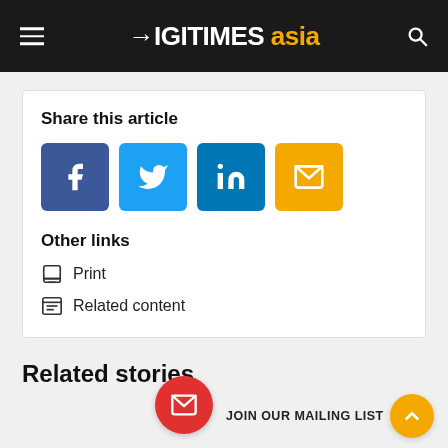DIGITIMES asia
Share this article
Facebook, Twitter, LinkedIn, Email share buttons
Other links
Print
Related content
Related stories
Computex 2015: Microsoft showcases Windows 10 devices from partners
Jun 4, 2015
JOIN OUR MAILING LIST